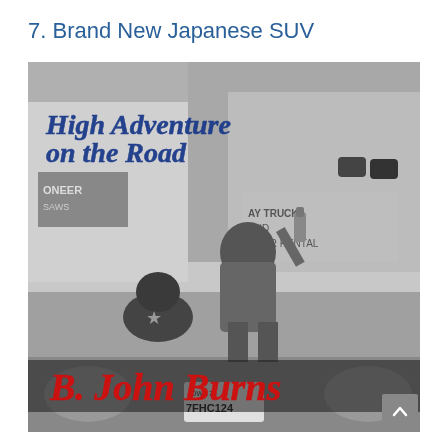7. Brand New Japanese SUV
[Figure (photo): Black and white photo album cover for 'High Adventure on the Road' by B. John Burns. A man sits on the hood of a car with a dog beside him, holding up a bottle. A truck and trailer rental sign is visible in the background. The license plate reads IOWA 7FHC124. Title text in blue reads 'High Adventure on the Road' and author name in red reads 'B. John Burns'.]